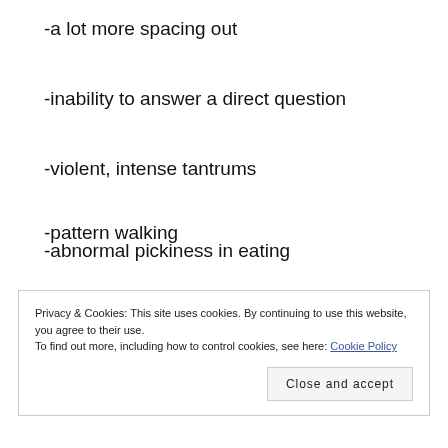-a lot more spacing out
-inability to answer a direct question
-violent, intense tantrums
-pattern walking
-abnormal pickiness in eating
Privacy & Cookies: This site uses cookies. By continuing to use this website, you agree to their use.
To find out more, including how to control cookies, see here: Cookie Policy
Close and accept